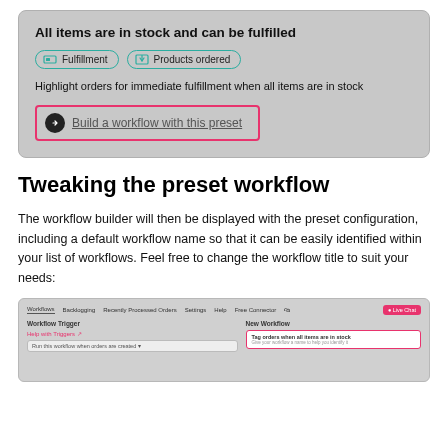[Figure (screenshot): UI card showing preset workflow for 'All items are in stock and can be fulfilled' with Fulfillment and Products ordered tags, description text, and a highlighted 'Build a workflow with this preset' button with pink border.]
Tweaking the preset workflow
The workflow builder will then be displayed with the preset configuration, including a default workflow name so that it can be easily identified within your list of workflows. Feel free to change the workflow title to suit your needs:
[Figure (screenshot): Workflow builder UI screenshot showing navigation bar with Workflows, Backlogging, Recently Processed Orders, Settings, Help, Free Connector tabs, a Live Chat button, Workflow Trigger panel, and New Workflow panel with 'Tag orders when all items are in stock' name highlighted in pink border.]